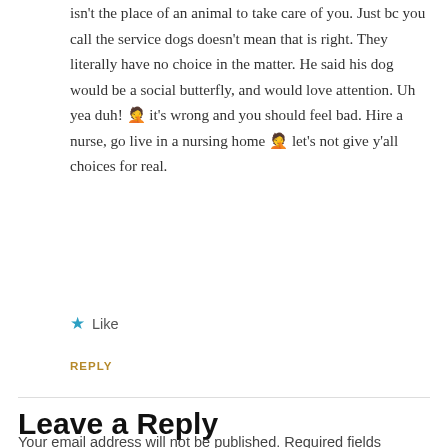isn't the place of an animal to take care of you. Just bc you call the service dogs doesn't mean that is right. They literally have no choice in the matter. He said his dog would be a social butterfly, and would love attention. Uh yea duh! 🤦 it's wrong and you should feel bad. Hire a nurse, go live in a nursing home 🤦 let's not give y'all choices for real.
Like
REPLY
Leave a Reply
Your email address will not be published. Required fields